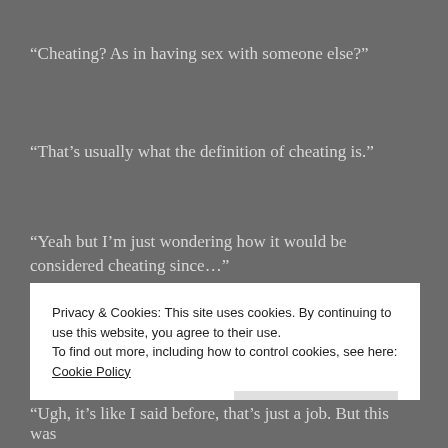“Cheating? As in having sex with someone else?”
“That’s usually what the definition of cheating is.”
“Yeah but I’m just wondering how it would be considered cheating since…”
“She does porn?”
Privacy & Cookies: This site uses cookies. By continuing to use this website, you agree to their use. To find out more, including how to control cookies, see here: Cookie Policy
Close and accept
“Ugh, it’s like I said before, that’s just a job. But this was